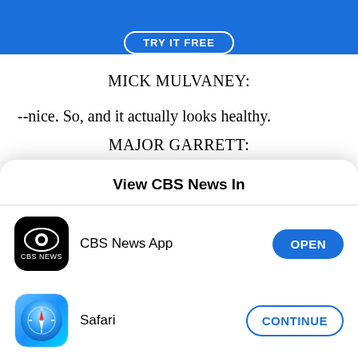[Figure (screenshot): Blue ad banner with 'TRY IT FREE' button]
MICK MULVANEY:
--nice. So, and it actually looks healthy.
MAJOR GARRETT:
Mildly. We don't-- we don't get too deeply in the
[Figure (screenshot): iOS app picker modal: 'View CBS News In' with CBS News App (OPEN button) and Safari (CONTINUE button)]